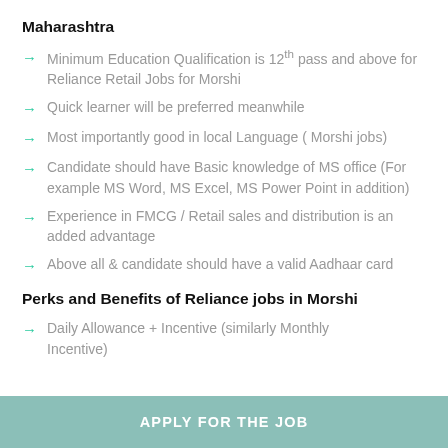Maharashtra
Minimum Education Qualification is 12th pass and above for Reliance Retail Jobs for Morshi
Quick learner will be preferred meanwhile
Most importantly good in local Language ( Morshi jobs)
Candidate should have Basic knowledge of MS office (For example MS Word, MS Excel, MS Power Point in addition)
Experience in FMCG / Retail sales and distribution is an added advantage
Above all & candidate should have a valid Aadhaar card
Perks and Benefits of Reliance jobs in Morshi
Daily Allowance + Incentive (similarly Monthly Incentive)
APPLY FOR THE JOB